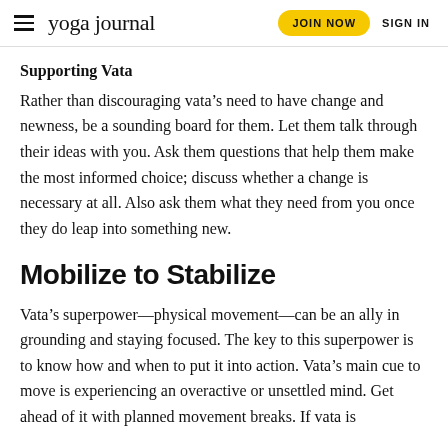yoga journal | JOIN NOW | SIGN IN
Supporting Vata
Rather than discouraging vata’s need to have change and newness, be a sounding board for them. Let them talk through their ideas with you. Ask them questions that help them make the most informed choice; discuss whether a change is necessary at all. Also ask them what they need from you once they do leap into something new.
Mobilize to Stabilize
Vata’s superpower—physical movement—can be an ally in grounding and staying focused. The key to this superpower is to know how and when to put it into action. Vata’s main cue to move is experiencing an overactive or unsettled mind. Get ahead of it with planned movement breaks. If vata is